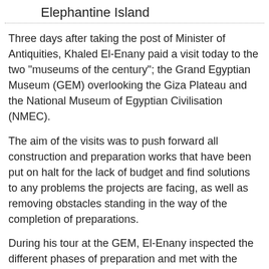Elephantine Island
Three days after taking the post of Minister of Antiquities, Khaled El-Enany paid a visit today to the two "museums of the century"; the Grand Egyptian Museum (GEM) overlooking the Giza Plateau and the National Museum of Egyptian Civilisation (NMEC).
The aim of the visits was to push forward all construction and preparation works that have been put on halt for the lack of budget and find solutions to any problems the projects are facing, as well as removing obstacles standing in the way of the completion of preparations.
During his tour at the GEM, El-Enany inspected the different phases of preparation and met with the GEM general supervisor Tarek Tawfik and members of the engineering committee of the Engineering Authority of the Armed Forces.
El-Enany announced that he would very soon provide